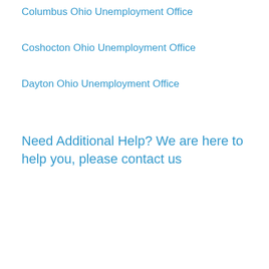Columbus Ohio Unemployment Office
Coshocton Ohio Unemployment Office
Dayton Ohio Unemployment Office
Need Additional Help? We are here to help you, please contact us